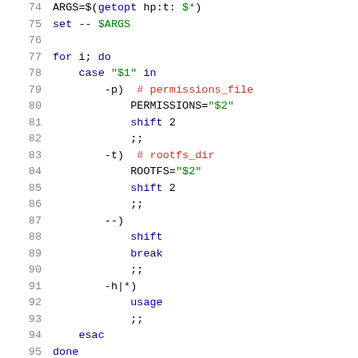Code listing lines 74-95 showing shell script with getopt, for loop, case statement handling -p (permissions_file), -t (rootfs_dir), --), and -h|*) options, plus esac and done keywords.